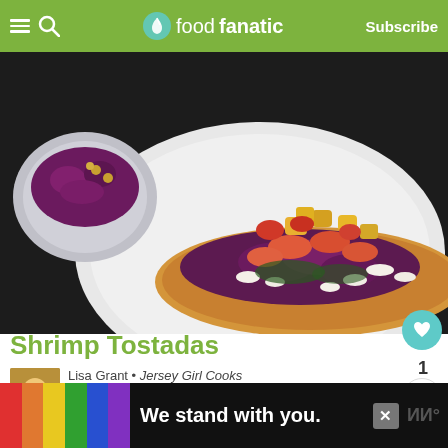foodfanatic  Subscribe
[Figure (photo): Shrimp tostada on a white plate with purple cabbage slaw, queso fresco, pineapple salsa and shrimp, with a bowl of slaw in the background]
Shrimp Tostadas
Lisa Grant • Jersey Girl Cooks • Easy Dinners  Feb 5, ...m
Shrimp tostadas are crispy shrimp, tangy red pineapple salsa and queso fresco - placed su a crunchy corn tortilla. This will be your new favorite way to serve shrimp!
[Figure (infographic): WHAT'S NEXT → Sorullitos thumbnail advertisement overlay]
[Figure (infographic): We stand with you. rainbow advertisement banner at bottom of page]